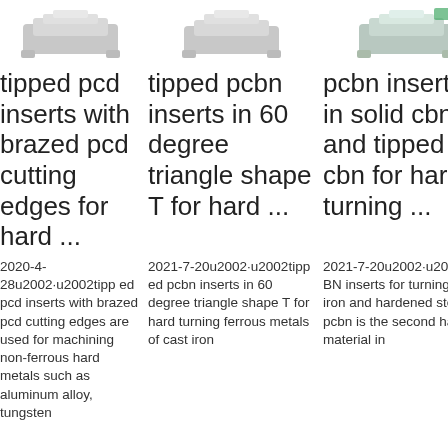[Figure (photo): Photo of tipped PCD insert cutting tool, light grey background]
[Figure (photo): Photo of tipped PCBN insert cutting tool, light grey background]
[Figure (photo): Photo of PCBN insert cutting tool, light grey background]
tipped pcd inserts with brazed pcd cutting edges for hard ...
tipped pcbn inserts in 60 degree triangle shape T for hard ...
pcbn inserts in solid cbn and tipped cbn for hard turning ...
2020-4-28u2002·u2002tipped pcd inserts with brazed pcd cutting edges are used for machining non-ferrous hard metals such as aluminum alloy, tungsten
2021-7-20u2002·u2002tipped pcbn inserts in 60 degree triangle shape T for hard turning ferrous metals of cast iron
2021-7-20u2002·u2002PCBN inserts for turning cast iron and hardened steel: pcbn is the second hardest material in